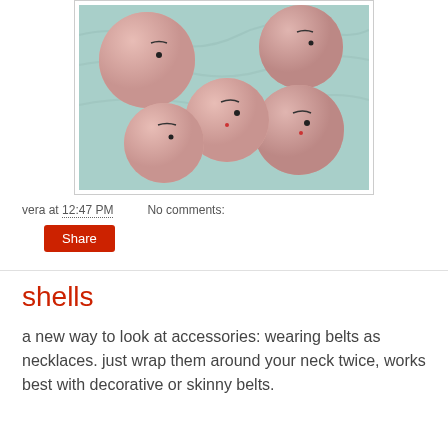[Figure (photo): Several pink round doll-face beads arranged on a light blue floral fabric background. The beads have painted facial features including small black eyes and red dots.]
vera at 12:47 PM   No comments:
Share
shells
a new way to look at accessories: wearing belts as necklaces. just wrap them around your neck twice, works best with decorative or skinny belts.